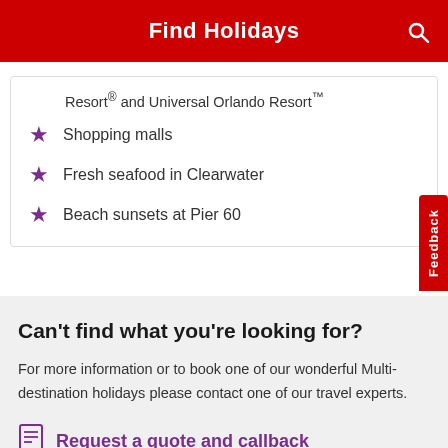Find Holidays
Resort® and Universal Orlando Resort™
Shopping malls
Fresh seafood in Clearwater
Beach sunsets at Pier 60
Can't find what you're looking for?
For more information or to book one of our wonderful Multi-destination holidays please contact one of our travel experts.
Request a quote and callback